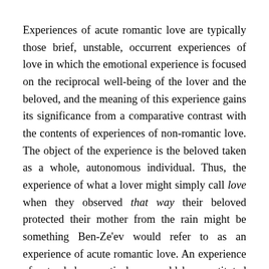Experiences of acute romantic love are typically those brief, unstable, occurrent experiences of love in which the emotional experience is focused on the reciprocal well-being of the lover and the beloved, and the meaning of this experience gains its significance from a comparative contrast with the contents of experiences of non-romantic love. The object of the experience is the beloved taken as a whole, autonomous individual. Thus, the experience of what a lover might simply call love when they observed that way their beloved protected their mother from the rain might be something Ben-Ze'ev would refer to as an experience of acute romantic love. An experience of extended romantic love would be constituted by similar components compared to an experience of acute romantic love except that these experiences would be temporarily extended and unified by the